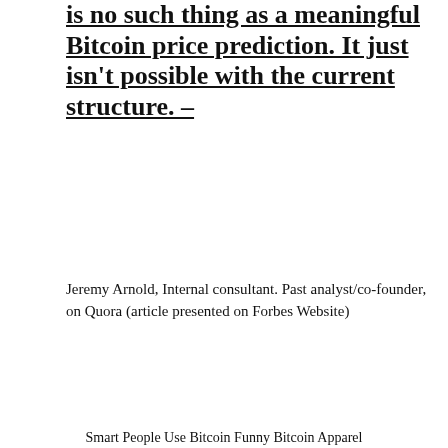is no such thing as a meaningful Bitcoin price prediction. It just isn't possible with the current structure. –
Jeremy Arnold, Internal consultant. Past analyst/co-founder, on Quora (article presented on Forbes Website)
[Figure (photo): Black long-sleeve t-shirt with text 'Bitcoin is money for smart people.' and an orange Bitcoin logo, followed by 'You wouldn't be interested.']
Smart People Use Bitcoin Funny Bitcoin Apparel